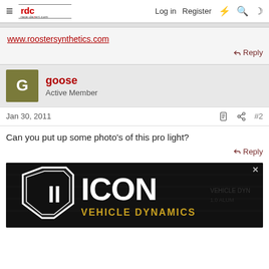race-dezert.com | Log in | Register
www.roostersynthetics.com
Reply
goose - Active Member
Jan 30, 2011 #2
Can you put up some photo's of this pro light?
Reply
[Figure (advertisement): ICON Vehicle Dynamics advertisement with shield logo and text 'ICON VEHICLE DYNAMICS' on dark background]